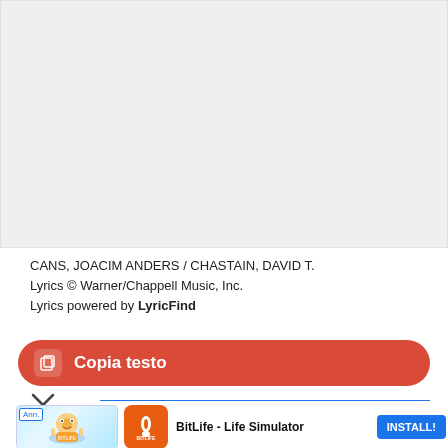[Figure (other): Gray placeholder box representing a lyrics or image content area]
CANS, JOACIM ANDERS / CHASTAIN, DAVID T.
Lyrics © Warner/Chappell Music, Inc.
Lyrics powered by LyricFind
Copia testo
[Figure (other): Advertisement banner: Ann. badge with illustrated character, BitLife - Life Simulator app icon, title 'BitLife - Life Simulator', INSTALL! button]